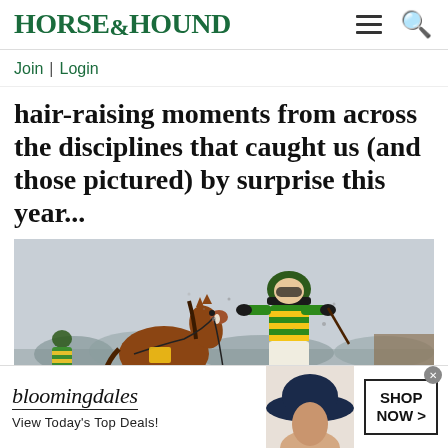HORSE&HOUND
Join | Login
hair-raising moments from across the disciplines that caught us (and those pictured) by surprise this year...
[Figure (photo): Horse racing photo: A jockey in green and yellow striped silks has been unseated and is mid-air above the track, while a riderless chestnut horse gallops nearby. Another jockey in green silks is visible in the background. Winter trees visible in the distance.]
[Figure (photo): Bloomingdale's advertisement banner: Shows the Bloomingdale's logo with tagline 'View Today's Top Deals!' alongside a woman in a large navy blue hat, and a SHOP NOW button.]